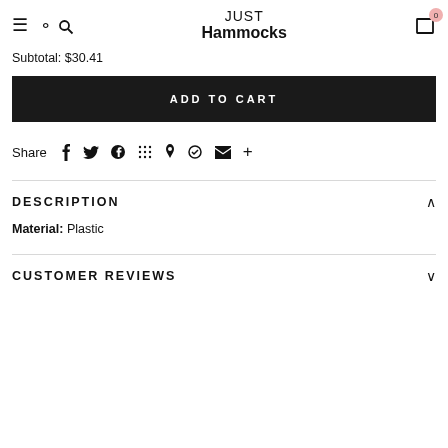JUST Hammocks
Subtotal: $30.41
ADD TO CART
Share
DESCRIPTION
Material: Plastic
CUSTOMER REVIEWS